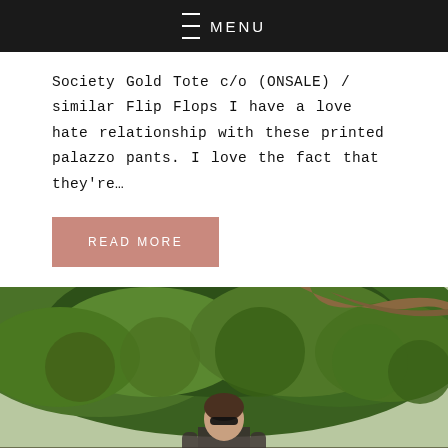MENU
Society Gold Tote c/o (ONSALE) / similar Flip Flops I have a love hate relationship with these printed palazzo pants. I love the fact that they're…
READ MORE
[Figure (photo): Outdoor photo of a person standing under large green trees, wearing sunglasses, viewed from below. Background shows dense leafy tree canopy with natural daylight.]